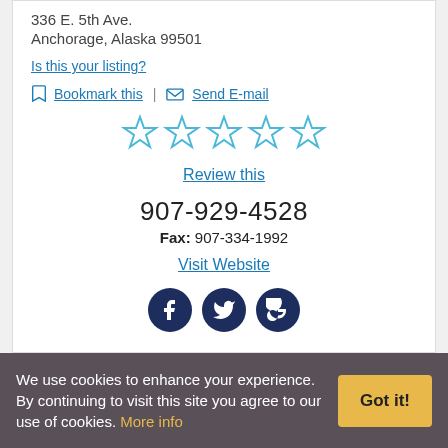336 E. 5th Ave.
Anchorage, Alaska 99501
Is this your listing?
Bookmark this  |  Send E-mail
[Figure (other): Five empty star rating icons in blue outline]
Review this
907-929-4528
Fax: 907-334-1992
Visit Website
[Figure (other): Social media icons: Facebook, Twitter, Google — dark navy circles with white icons]
We use cookies to enhance your experience. By continuing to visit this site you agree to our use of cookies. More info